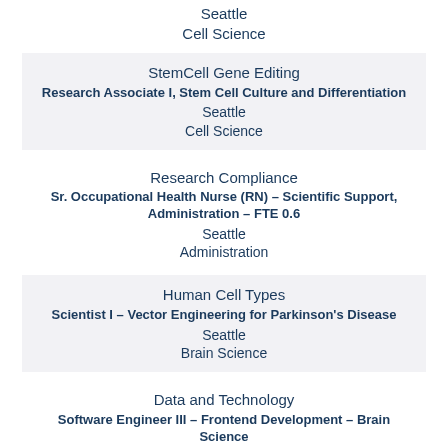Seattle
Cell Science
StemCell Gene Editing
Research Associate I, Stem Cell Culture and Differentiation
Seattle
Cell Science
Research Compliance
Sr. Occupational Health Nurse (RN) – Scientific Support, Administration – FTE 0.6
Seattle
Administration
Human Cell Types
Scientist I – Vector Engineering for Parkinson's Disease
Seattle
Brain Science
Data and Technology
Software Engineer III – Frontend Development – Brain Science
Seattle
Brain Science
Human Cell Types
Research Associate I – Rodent neurosurgeon for Parkinson's disease
Seattle
Brain Science